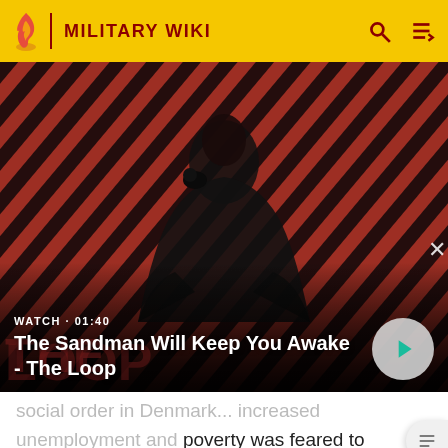MILITARY WIKI
[Figure (screenshot): Video thumbnail showing a dark-haired man in a black cape with a raven on his shoulder, against a red and dark diagonal stripe background. Text overlay: WATCH · 01:40 / The Sandman Will Keep You Awake - The Loop]
WATCH · 01:40
The Sandman Will Keep You Awake - The Loop
social order in Denmark... increased unemployment and poverty was feared to lead to more of open revolt within the country, since Danes tended to blame all negative developments on the Germans. It was feared that any revolt would result in a crackdown by the German authorities.[12]